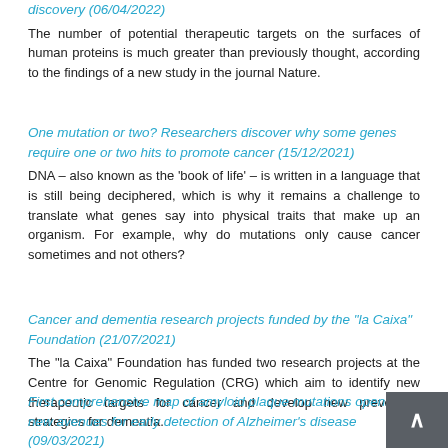discovery (06/04/2022)
The number of potential therapeutic targets on the surfaces of human proteins is much greater than previously thought, according to the findings of a new study in the journal Nature.
One mutation or two? Researchers discover why some genes require one or two hits to promote cancer (15/12/2021)
DNA – also known as the 'book of life' – is written in a language that is still being deciphered, which is why it remains a challenge to translate what genes say into physical traits that make up an organism. For example, why do mutations only cause cancer sometimes and not others?
Cancer and dementia research projects funded by the "la Caixa" Foundation (21/07/2021)
The "la Caixa" Foundation has funded two research projects at the Centre for Genomic Regulation (CRG) which aim to identify new therapeutic targets for cancer and develop new prevention strategies for dementia.
First comprehensive map of amyloid plaque mutations opens new avenues for early detection of Alzheimer's disease (09/03/2021)